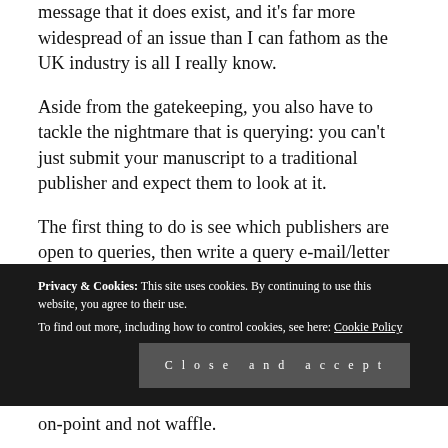message that it does exist, and it's far more widespread of an issue than I can fathom as the UK industry is all I really know.
Aside from the gatekeeping, you also have to tackle the nightmare that is querying: you can't just submit your manuscript to a traditional publisher and expect them to look at it.

The first thing to do is see which publishers are open to queries, then write a query e-mail/letter with a synopsis of some kind about your book, you as its author, and why
Privacy & Cookies: This site uses cookies. By continuing to use this website, you agree to their use.
To find out more, including how to control cookies, see here: Cookie Policy
on-point and not waffle.